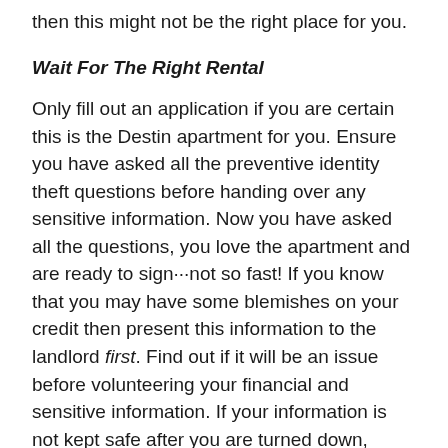then this might not be the right place for you.
Wait For The Right Rental
Only fill out an application if you are certain this is the Destin apartment for you. Ensure you have asked all the preventive identity theft questions before handing over any sensitive information. Now you have asked all the questions, you love the apartment and are ready to sign···not so fast! If you know that you may have some blemishes on your credit then present this information to the landlord first. Find out if it will be an issue before volunteering your financial and sensitive information. If your information is not kept safe after you are turned down, those blemishes could then turn into a living nightmare.